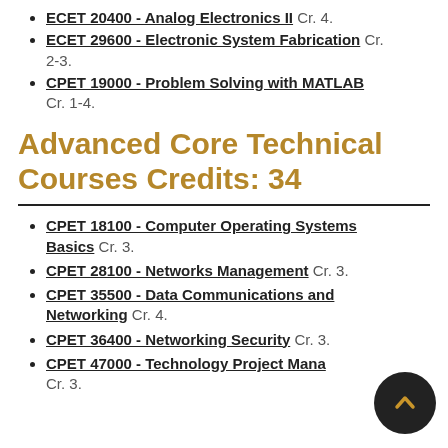ECET 20400 - Analog Electronics II Cr. 4.
ECET 29600 - Electronic System Fabrication Cr. 2-3.
CPET 19000 - Problem Solving with MATLAB Cr. 1-4.
Advanced Core Technical Courses Credits: 34
CPET 18100 - Computer Operating Systems Basics Cr. 3.
CPET 28100 - Networks Management Cr. 3.
CPET 35500 - Data Communications and Networking Cr. 4.
CPET 36400 - Networking Security Cr. 3.
CPET 47000 - Technology Project Management Cr. 3.